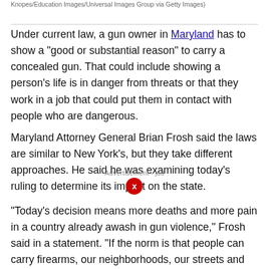Knopes/Education Images/Universal Images Group via Getty Images)
Under current law, a gun owner in Maryland has to show a "good or substantial reason" to carry a concealed gun. That could include showing a person's life is in danger from threats or that they work in a job that could put them in contact with people who are dangerous.
Maryland Attorney General Brian Frosh said the laws are similar to New York's, but they take different approaches. He said he was examining today's ruling to determine its impact on the state.
"Today's decision means more deaths and more pain in a country already awash in gun violence," Frosh said in a statement. "If the norm is that people can carry firearms, our neighborhoods, our streets and other public places will